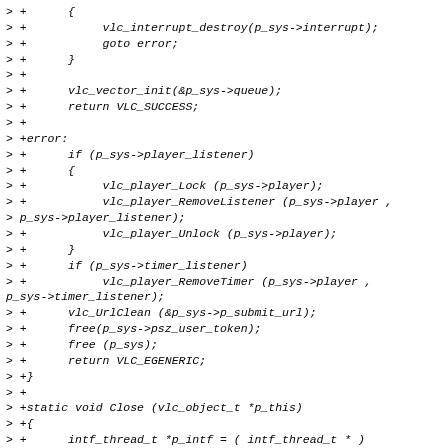> +      {
> +           vlc_interrupt_destroy(p_sys->interrupt);
> +           goto error;
> +      }
> +
> +      vlc_vector_init(&p_sys->queue);
> +      return VLC_SUCCESS;
> +
> +error:
> +      if (p_sys->player_listener)
> +      {
> +           vlc_player_Lock (p_sys->player);
> +           vlc_player_RemoveListener (p_sys->player ,
> p_sys->player_listener);
> +           vlc_player_Unlock (p_sys->player);
> +      }
> +      if (p_sys->timer_listener)
> +           vlc_player_RemoveTimer (p_sys->player ,
p_sys->timer_listener);
> +      vlc_UrlClean (&p_sys->p_submit_url);
> +      free(p_sys->psz_user_token);
> +      free (p_sys);
> +      return VLC_EGENERIC;
> +}
> +
> +static void Close (vlc_object_t *p_this)
> +{
> +      intf_thread_t *p_intf = ( intf_thread_t * )
p_this;
> +      intf_sys_t *p_sys = p_intf->p_sys;